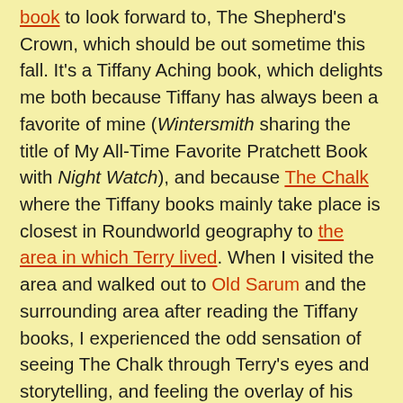book to look forward to, The Shepherd's Crown, which should be out sometime this fall. It's a Tiffany Aching book, which delights me both because Tiffany has always been a favorite of mine (Wintersmith sharing the title of My All-Time Favorite Pratchett Book with Night Watch), and because The Chalk where the Tiffany books mainly take place is closest in Roundworld geography to the area in which Terry lived. When I visited the area and walked out to Old Sarum and the surrounding area after reading the Tiffany books, I experienced the odd sensation of seeing The Chalk through Terry's eyes and storytelling, and feeling the overlay of his magical fiction on the reality I walked through – or, to put it in more Pratchettian terms, feeling the thinning of the fabric of reality between the Discworld and Roundworld. For that experience as well as the beauty of the area and the feeling that, like Tiffany, Terry was very connected with and grounded in that land, The Chalk has always held a special place in my heart. I find it fitting that the last Discworld book is set in the Discworld equivalent of the land Terry lived in and loved.